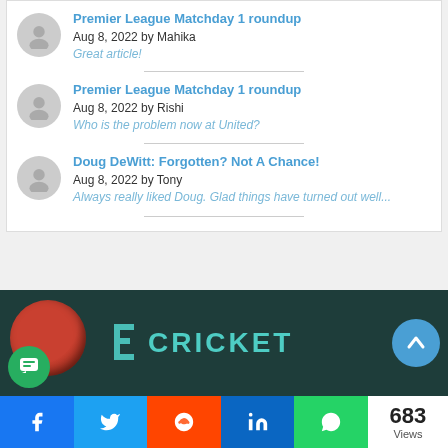Premier League Matchday 1 roundup
Aug 8, 2022 by Mahika
Great article!
Premier League Matchday 1 roundup
Aug 8, 2022 by Rishi
Who is the problem now at United?
Doug DeWitt: Forgotten? Not A Chance!
Aug 8, 2022 by Tony
Always really liked Doug. Glad things have turned out well...
[Figure (screenshot): Cricket banner with dark teal background, a red cricket ball on the left, and the word CRICKET in teal lettering on the right. A green chat button is on the lower left and a blue up-arrow button is on the upper right.]
683 Views — Share buttons: Facebook, Twitter, Reddit, LinkedIn, WhatsApp